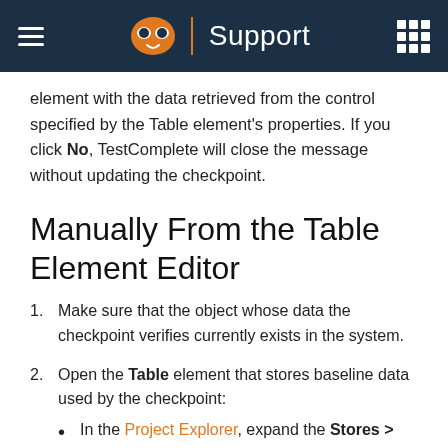Support
element with the data retrieved from the control specified by the Table element's properties. If you click No, TestComplete will close the message without updating the checkpoint.
Manually From the Table Element Editor
1. Make sure that the object whose data the checkpoint verifies currently exists in the system.
2. Open the Table element that stores baseline data used by the checkpoint:
In the Project Explorer, expand the Stores > Tables node and locate the Table element that stores the data you want to update.